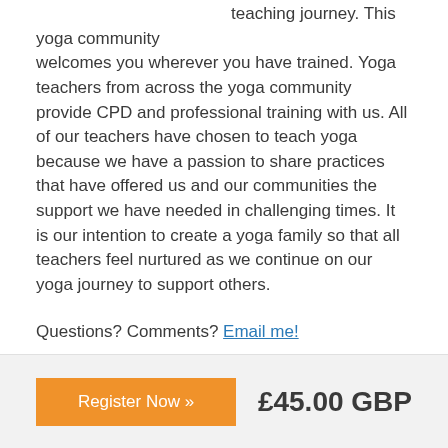teaching journey. This yoga community welcomes you wherever you have trained. Yoga teachers from across the yoga community provide CPD and professional training with us. All of our teachers have chosen to teach yoga because we have a passion to share practices that have offered us and our communities the support we have needed in challenging times. It is our intention to create a yoga family so that all teachers feel nurtured as we continue on our yoga journey to support others.
Questions? Comments? Email me!
Register Now »
£45.00 GBP